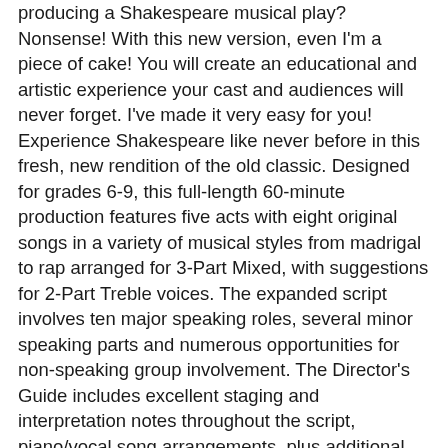producing a Shakespeare musical play? Nonsense! With this new version, even I'm a piece of cake! You will create an educational and artistic experience your cast and audiences will never forget. I've made it very easy for you! Experience Shakespeare like never before in this fresh, new rendition of the old classic. Designed for grades 6-9, this full-length 60-minute production features five acts with eight original songs in a variety of musical styles from madrigal to rap arranged for 3-Part Mixed, with suggestions for 2-Part Treble voices. The expanded script involves ten major speaking roles, several minor speaking parts and numerous opportunities for non-speaking group involvement. The Director's Guide includes excellent staging and interpretation notes throughout the script, piano/vocal song arrangements, plus additional production, set and costume hints for a successful experience from start to finish. The Libretto/Vocal book features script and vocal parts for your aspiring young actors. Available separately: Director Guide, Libretto/Vocal 5-Pak, Preview CD (dialog not recorded), Preview Pak (1 Libretto/Vocal, 1 Preview CD), Performance/Accompaniment CD (dialog not recorded), Performance Kit/CD (1 Director, 20 Libretto/Vocal, P/A CD). Duration: ca. 60 minutes. Suggested for grades 6-9.